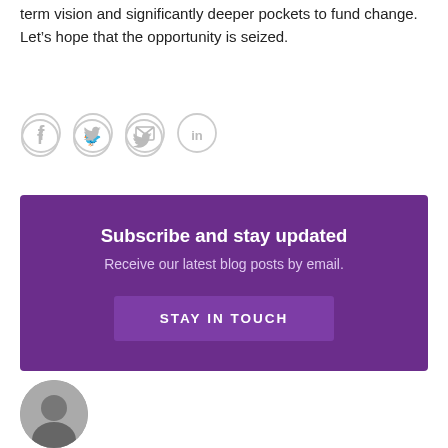term vision and significantly deeper pockets to fund change. Let’s hope that the opportunity is seized.
[Figure (infographic): Social sharing icons: Facebook, Twitter, Email, LinkedIn arranged in a row as circle outlines with grey icons inside]
[Figure (infographic): Purple subscription banner with bold white text 'Subscribe and stay updated', subtext 'Receive our latest blog posts by email.', and a button labeled 'STAY IN TOUCH']
[Figure (photo): Circular avatar photo of a person, partially visible at bottom left of the page]